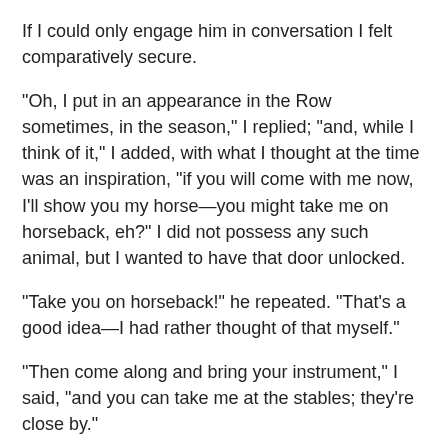If I could only engage him in conversation I felt comparatively secure.
"Oh, I put in an appearance in the Row sometimes, in the season," I replied; "and, while I think of it," I added, with what I thought at the time was an inspiration, "if you will come with me now, I'll show you my horse—you might take me on horseback, eh?" I did not possess any such animal, but I wanted to have that door unlocked.
"Take you on horseback!" he repeated. "That's a good idea—I had rather thought of that myself."
"Then come along and bring your instrument," I said, "and you can take me at the stables; they're close by."
"No need for that," he replied cheerfully. "I'll find you a mount here."